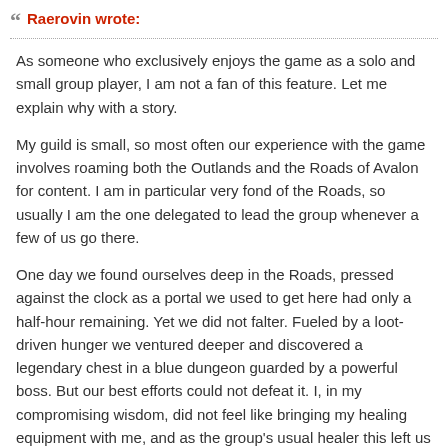Raerovin wrote:
As someone who exclusively enjoys the game as a solo and small group player, I am not a fan of this feature. Let me explain why with a story.
My guild is small, so most often our experience with the game involves roaming both the Outlands and the Roads of Avalon for content. I am in particular very fond of the Roads, so usually I am the one delegated to lead the group whenever a few of us go there.
One day we found ourselves deep in the Roads, pressed against the clock as a portal we used to get here had only a half-hour remaining. Yet we did not falter. Fueled by a loot-driven hunger we ventured deeper and discovered a legendary chest in a blue dungeon guarded by a powerful boss. But our best efforts could not defeat it. I, in my compromising wisdom, did not feel like bringing my healing equipment with me, and as the group's usual healer this left us at an incredible disadvantage.
We quickly devised a plan: I would travel back, the memory of the path we took still fresh in my mind, and retrieve my healing staff. The others would remain and guard our treasure from interlopers until I returned. But time was my enemy, and every passing second had